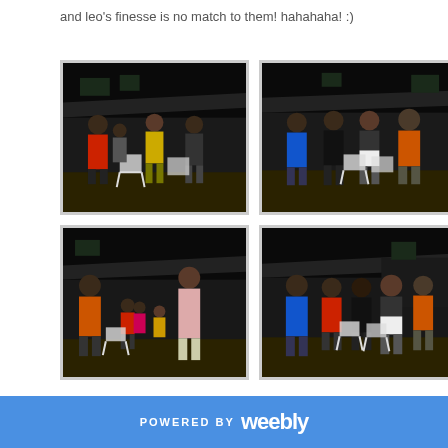and leo's finesse is no match to them! hahahaha! :)
[Figure (photo): Outdoor night scene with group of people standing around white plastic chairs, building in background, person in red shirt on left]
[Figure (photo): Outdoor night scene with group of people standing, person in blue shirt and orange shirt visible, white plastic chairs]
[Figure (photo): Outdoor night scene with group including children, man in pink/light shirt standing tall, orange-shirted person on left, white plastic chairs]
[Figure (photo): Outdoor night scene with group of people, person in blue shirt and orange shirt, white plastic chairs, building in background]
POWERED BY weebly